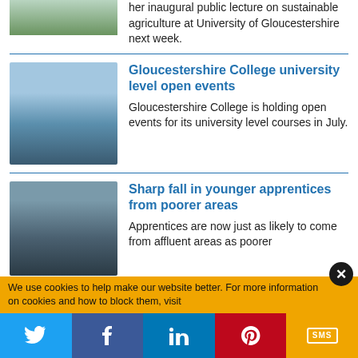[Figure (photo): Partial image of agricultural/nature scene at top]
her inaugural public lecture on sustainable agriculture at University of Gloucestershire next week.
[Figure (photo): Modern blue glass building of Gloucestershire College reflected in water]
Gloucestershire College university level open events
Gloucestershire College is holding open events for its university level courses in July.
[Figure (photo): Workers in blue overalls working with machinery]
Sharp fall in younger apprentices from poorer areas
Apprentices are now just as likely to come from affluent areas as poorer
We use cookies to help make our website better. For more information on cookies and how to block them, visit
Twitter | Facebook | LinkedIn | Pinterest | SMS